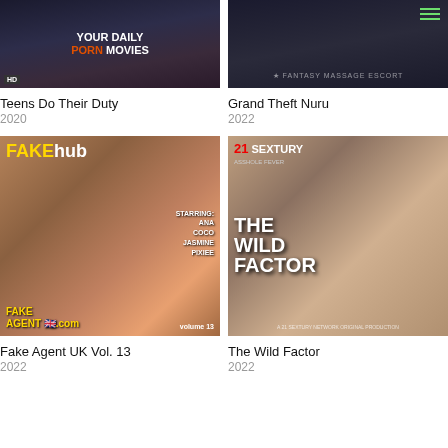[Figure (photo): Thumbnail for 'Teens Do Their Duty' with dark background and stylized text 'YOUR DAILY PORN MOVIES']
[Figure (photo): Thumbnail for 'Grand Theft Nuru' with dark background and menu icon]
Teens Do Their Duty
2020
Grand Theft Nuru
2022
[Figure (photo): DVD cover for 'Fake Agent UK Vol. 13' — FAKEhub branding, starring Ava, Coco, Jasmine, Pixiee]
[Figure (photo): DVD cover for 'The Wild Factor' — 21 Sextury branding, Asshole Fever]
Fake Agent UK Vol. 13
2022
The Wild Factor
2022